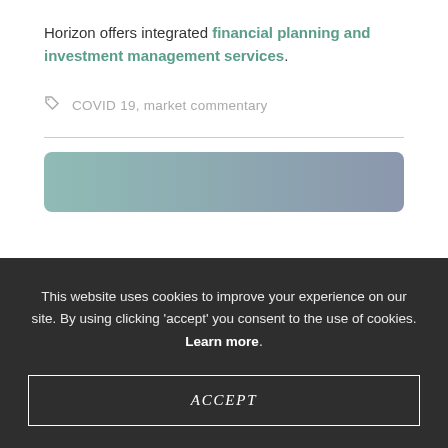Horizon offers integrated financial planning and investment management services.
COVID 19, market commentary
[Figure (illustration): Partial view of a card/banner with a teal-to-purple gradient background]
This website uses cookies to improve your experience on our site. By using clicking ‘accept’ you consent to the use of cookies. Learn more.
ACCEPT